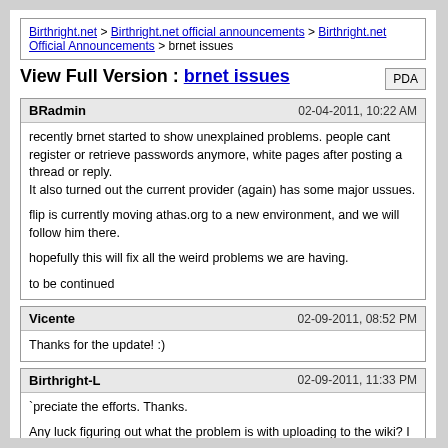Birthright.net > Birthright.net official announcements > Birthright.net Official Announcements > brnet issues
View Full Version : brnet issues
BRadmin   02-04-2011, 10:22 AM
recently brnet started to show unexplained problems. people cant register or retrieve passwords anymore, white pages after posting a thread or reply.
It also turned out the current provider (again) has some major ussues.

flip is currently moving athas.org to a new environment, and we will follow him there.

hopefully this will fix all the weird problems we are having.

to be continued
Vicente   02-09-2011, 08:52 PM
Thanks for the update! :)
Birthright-L   02-09-2011, 11:33 PM
`preciate the efforts. Thanks.

Any luck figuring out what the problem is with uploading to the wiki? I still get "We could not process your edit due to a loss of session data" when I try to upload a file, and logging out then back in doesn`t do the trick.